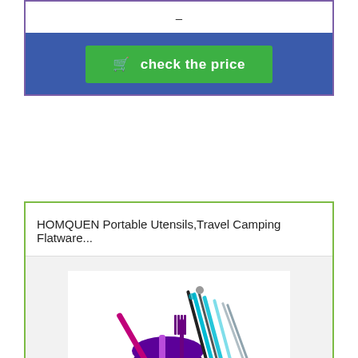–
check the price
HOMQUEN Portable Utensils,Travel Camping Flatware...
[Figure (photo): Colorful stainless steel travel flatware set including fork, spoon, knife, chopsticks, and straws with a purple carrying case]
$10.99
–